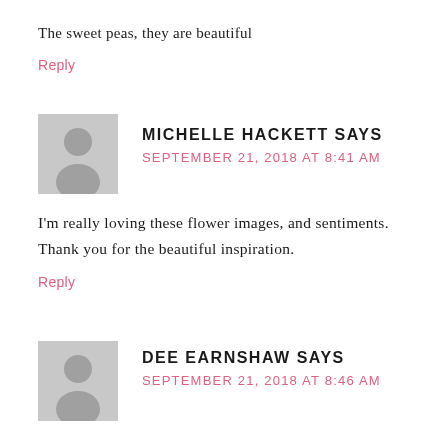The sweet peas, they are beautiful
Reply
[Figure (illustration): Generic user avatar placeholder - grey silhouette of a person]
MICHELLE HACKETT SAYS
SEPTEMBER 21, 2018 AT 8:41 AM
I'm really loving these flower images, and sentiments. Thank you for the beautiful inspiration.
Reply
[Figure (illustration): Generic user avatar placeholder - grey silhouette of a person]
DEE EARNSHAW SAYS
SEPTEMBER 21, 2018 AT 8:46 AM